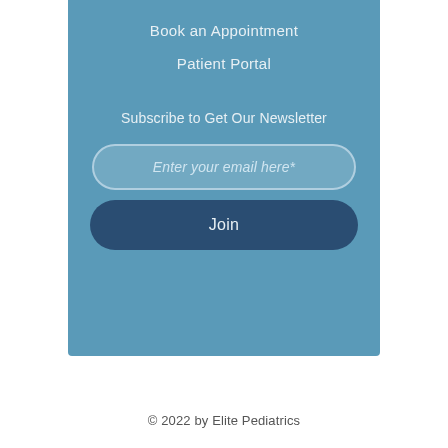Book an Appointment
Patient Portal
Subscribe to Get Our Newsletter
Enter your email here*
Join
© 2022 by Elite Pediatrics